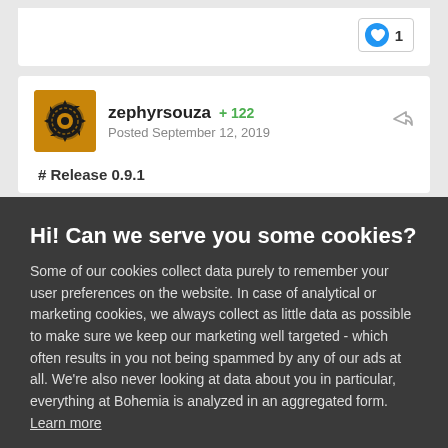[Figure (other): Like button with heart icon showing count of 1]
zephyrsouza  +122
Posted September 12, 2019
# Release 0.9.1
Hi! Can we serve you some cookies?
Some of our cookies collect data purely to remember your user preferences on the website. In case of analytical or marketing cookies, we always collect as little data as possible to make sure we keep our marketing well targeted - which often results in you not being spammed by any of our ads at all. We're also never looking at data about you in particular, everything at Bohemia is analyzed in an aggregated form. Learn more
Allow all cookies
I want more options